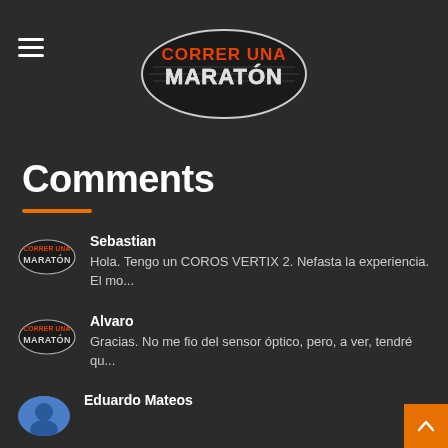[Figure (logo): Correr Una Maratón logo — oval shoe-shaped logo with orange and white text on dark background]
Comments
Sebastian
Hola. Tengo un COROS VERTIX 2. Nefasta la experiencia. El mo...
Alvaro
Gracias. No me fio del sensor óptico, pero, a ver, tendré qu...
Eduardo Mateos